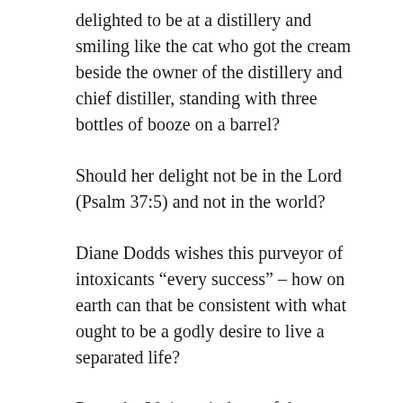delighted to be at a distillery and smiling like the cat who got the cream beside the owner of the distillery and chief distiller, standing with three bottles of booze on a barrel?
Should her delight not be in the Lord (Psalm 37:5) and not in the world?
Diane Dodds wishes this purveyor of intoxicants “every success” – how on earth can that be consistent with what ought to be a godly desire to live a separated life?
Proverbs 20:1 reminds us of the damage done to the individual of alcohol in general, with specific reference to strong drink, which